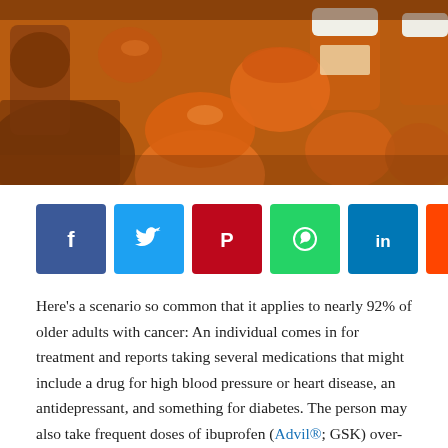[Figure (photo): Overhead photo of many orange prescription pill bottles scattered together, some upright and some tipped over.]
[Figure (infographic): Social media sharing buttons: Facebook (blue), Twitter (cyan), Pinterest (red), WhatsApp (green), LinkedIn (dark blue), Reddit (orange), Email (black), and a plus button (light gray).]
Here's a scenario so common that it applies to nearly 92% of older adults with cancer: An individual comes in for treatment and reports taking several medications that might include a drug for high blood pressure or heart disease, an antidepressant, and something for diabetes. The person may also take frequent doses of ibuprofen (Advil®; GSK) over-the-counter pills to relieve heartburn or reflux, antihistamines, vitamins and minerals. But, patients may not report these as